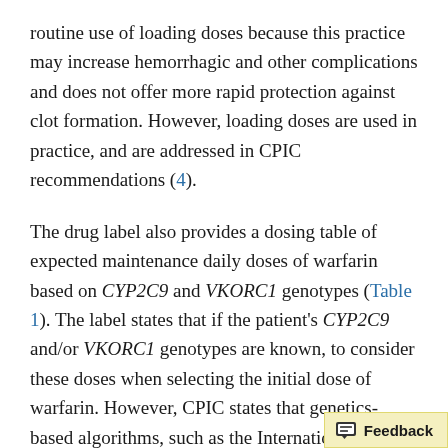routine use of loading doses because this practice may increase hemorrhagic and other complications and does not offer more rapid protection against clot formation. However, loading doses are used in practice, and are addressed in CPIC recommendations (4).
The drug label also provides a dosing table of expected maintenance daily doses of warfarin based on CYP2C9 and VKORC1 genotypes (Table 1). The label states that if the patient's CYP2C9 and/or VKORC1 genotypes are known, to consider these doses when selecting the initial dose of warfarin. However, CPIC states that genetics-based algorithms, such as the International Warfarin Pharmacogenetics Consortium (I...